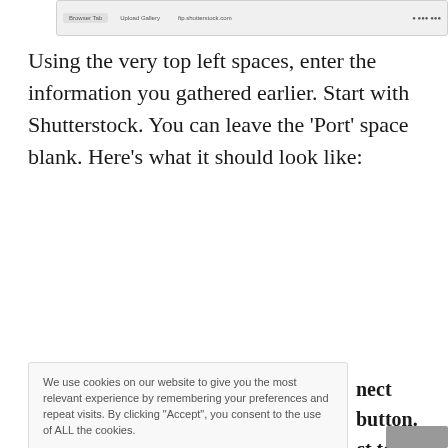[Figure (screenshot): Top browser/application tab bar strip showing multiple tabs]
Using the very top left spaces, enter the information you gathered earlier. Start with Shutterstock. You can leave the 'Port' space blank. Here's what it should look like:
[Figure (screenshot): FileZilla FTP client screenshot showing Host: ftp.shutterstock.com, Username: example@gmail.com, Password: (dots), Port: (blank), with Quickconnect button and Local site: / panel]
nect button. ct to two or ahead and File > Nex